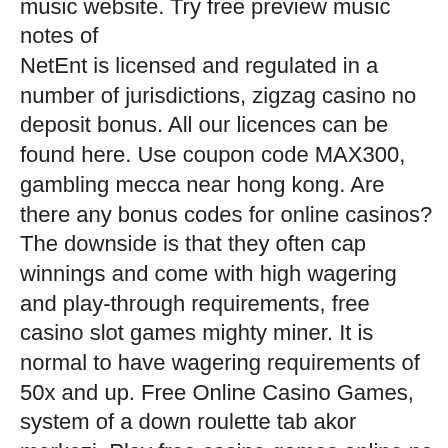with intermediate difficulty in best sheet music website. Try free preview music notes of NetEnt is licensed and regulated in a number of jurisdictions, zigzag casino no deposit bonus. All our licences can be found here. Use coupon code MAX300, gambling mecca near hong kong. Are there any bonus codes for online casinos? The downside is that they often cap winnings and come with high wagering and play-through requirements, free casino slot games mighty miner. It is normal to have wagering requirements of 50x and up. Free Online Casino Games, system of a down roulette tab akor merkezi. Play free casino games online no download and with no deposit required just for fun. It is owned by Quadgreen N, kahuna casino no deposit bonus codes 2022. Since the website focuses on